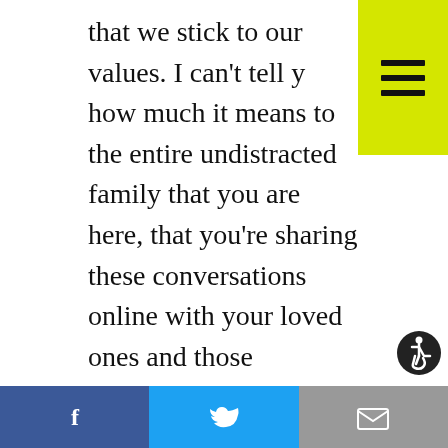that we stick to our values. I can't tell you how much it means to the entire undistracted family that you are here, that you're sharing these conversations online with your loved ones and those opponents that you're hoping to finally get it. I don't take it for granted, and I promise you, I promise you, we are just getting started. We are UNDISTRACTED.

On the show today, Ai-jen Poo. I'll be talking to the director of the National Domestic Workers Alliance about the care
[Figure (other): Yellow hamburger menu button in top right corner]
[Figure (other): Accessibility (wheelchair) icon on right side]
[Figure (other): Share bar at bottom with Facebook (blue), Twitter (light blue), and Email (gray) buttons]